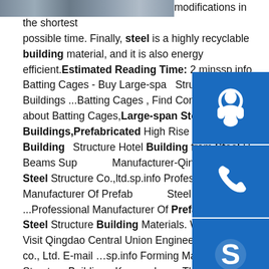[Figure (photo): Partial image of a steel structure building visible at top left]
modifications in the shortest possible time. Finally, steel is a highly recyclable building material, and it is also energy efficient. Estimated Reading Time: 2 minssp.info Batting Cages - Buy Large-span Structural Buildings ...Batting Cages , Find Complete Details about Batting Cages, Large-span Steel Structural Buildings, Prefabricated High Rise Steel Building Structure Hotel Building from Steel H-Beams Supplier or Manufacturer-Qingdao Hairuo Steel Structure Co.,ltd.sp.info Professional Manufacturer Of Prefabricated Steel Structure ...Professional Manufacturer Of Prefabricated Steel Structure Building Materials. Welcome To Visit Qingdao Central Union Engineering Material co., Ltd. E-mail …sp.info Forming Machine | Steel Structure Building - Kspan-ubm …The professional Prefabricated Steel Buildings suppliers manfacture of Rolling Forming Machine, Forming Machine, Cold Roll Forming Machine in China - kspan-ubm Yingkou Changsheng Steel Structure Project Company Ltd. was